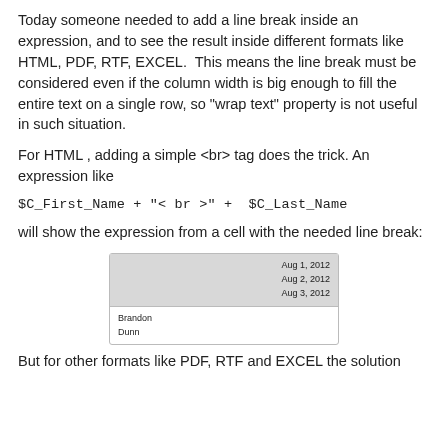Today someone needed to add a line break inside an expression, and to see the result inside different formats like HTML, PDF, RTF, EXCEL.  This means the line break must be considered even if the column width is big enough to fill the entire text on a single row, so "wrap text" property is not useful in such situation.
For HTML , adding a simple <br> tag does the trick. An expression like
$C_First_Name + "< br >" +  $C_Last_Name
will show the expression from a cell with the needed line break:
[Figure (screenshot): A screenshot of a report/spreadsheet cell showing two rows: a header row with dates 'Aug 1, 2012', 'Aug 2, 2012', 'Aug 3, 2012' on the right side, and a data row with 'Brandon' on one line and 'Dunn' on the next line on the left side.]
But for other formats like PDF, RTF and EXCEL the solution